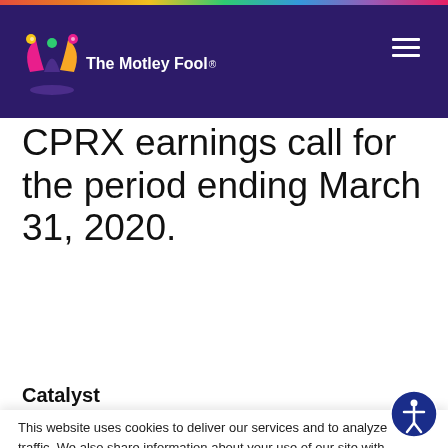The Motley Fool
CPRX earnings call for the period ending March 31, 2020.
Catalyst
This website uses cookies to deliver our services and to analyze traffic. We also share information about your use of our site with advertising and other partners. Privacy Policy
Got it
Cookie Settings